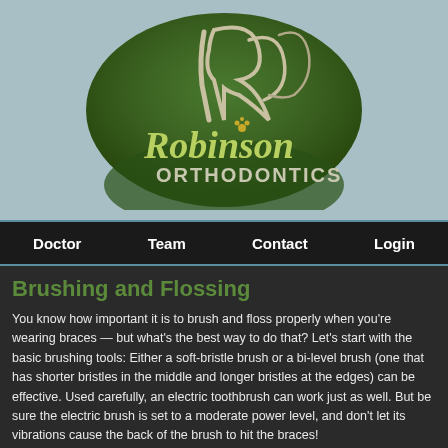[Figure (logo): Robinson Orthodontics logo — green oval with stylized R and Robinson Orthodontics text]
Doctor | Team | Contact | Login
Brushing and Flossing
You know how important it is to brush and floss properly when you're wearing braces — but what's the best way to do that? Let's start with the basic brushing tools: Either a soft-bristle brush or a bi-level brush (one that has shorter bristles in the middle and longer bristles at the edges) can be effective. Used carefully, an electric toothbrush can work just as well. But be sure the electric brush is set to a moderate power level, and don't let its vibrations cause the back of the brush to hit the braces!
[Figure (photo): Close-up photo of a person's face, partial view]